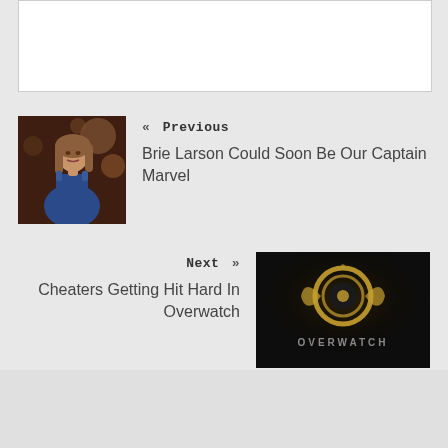[Figure (photo): White content box at top of page]
« Previous
Brie Larson Could Soon Be Our Captain Marvel
[Figure (photo): Thumbnail photo of Brie Larson in blue dress at event]
Next »
Cheaters Getting Hit Hard In Overwatch
[Figure (photo): Overwatch logo on dark background thumbnail]